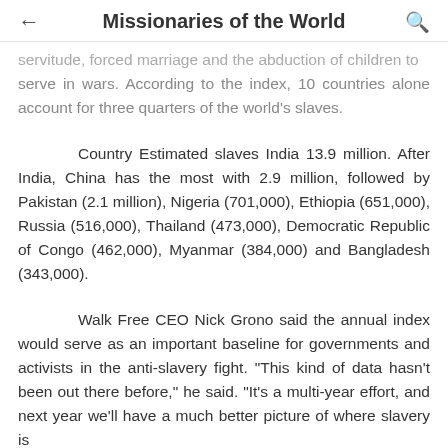Missionaries of the World
servitude, forced marriage and the abduction of children to serve in wars. According to the index, 10 countries alone account for three quarters of the world's slaves.
Country Estimated slaves India 13.9 million. After India, China has the most with 2.9 million, followed by Pakistan (2.1 million), Nigeria (701,000), Ethiopia (651,000), Russia (516,000), Thailand (473,000), Democratic Republic of Congo (462,000), Myanmar (384,000) and Bangladesh (343,000).
Walk Free CEO Nick Grono said the annual index would serve as an important baseline for governments and activists in the anti-slavery fight. "This kind of data hasn't been out there before," he said. "It's a multi-year effort, and next year we'll have a much better picture of where slavery is